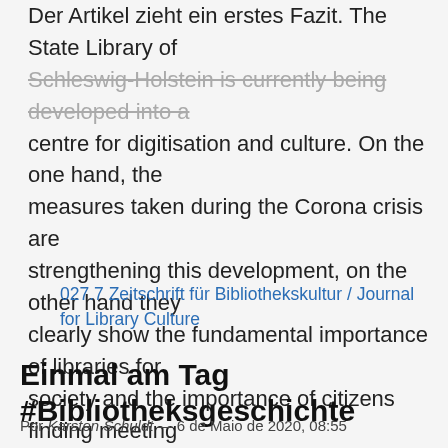Der Artikel zieht ein erstes Fazit. The State Library of Schleswig-Holstein is currently being developed into a centre for digitisation and culture. On the one hand, the measures taken during the Corona crisis are strengthening this development, on the other hand they clearly show the fundamental importance of libraries for society and the importance of citizens finding meeting places (third places) to discuss topics and expand knowledge. The article draws a first conclusion.
027.7 Zeitschrift für Bibliothekskultur / Journal for Library Culture
Einmal am Tag #Bibliotheksgeschichte
Por Karsten Schuldt — 6 de Maio de 2020, 08:55